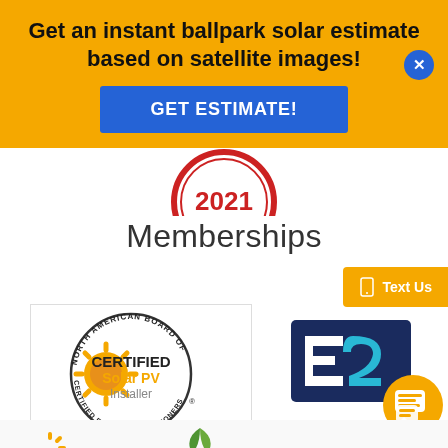Get an instant ballpark solar estimate based on satellite images!
GET ESTIMATE!
[Figure (logo): Red circular badge with '2021' text]
Memberships
[Figure (logo): NABCEP Certified Solar PV Installer circular logo with sun icon]
[Figure (logo): E2 logo in dark blue and light blue]
[Figure (logo): Yellow chat bubble icon]
[Figure (logo): Text Us button with phone icon]
[Figure (illustration): Bottom row of partial logos including sun rays and leaf icons]